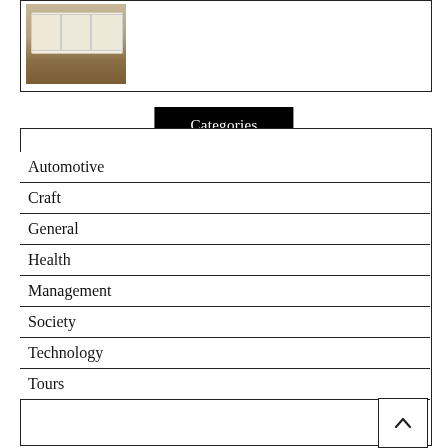[Figure (photo): Kitchen interior photo showing white cabinets and brown flooring]
Categories
Automotive
Craft
General
Health
Management
Society
Technology
Tours